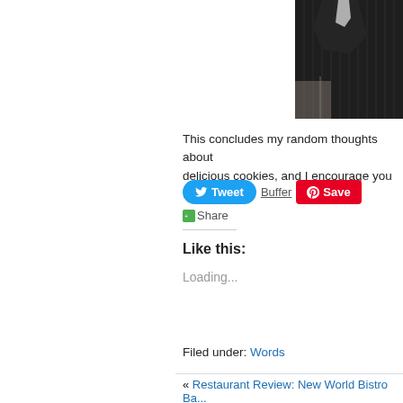[Figure (photo): Cropped photo of a person in a dark pinstripe suit, upper body visible against a light background]
This concludes my random thoughts about delicious cookies, and I encourage you to d...
Tweet  Buffer  Save  Share
Like this:
Loading...
Filed under: Words
« Restaurant Review: New World Bistro Ba...
2 Responses